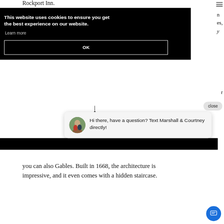Rockport Inn.
[Figure (screenshot): Cookie consent banner overlay on a website. Black background with white text: 'This website uses cookies to ensure you get the best experience on our website.' with 'Learn more' link and an 'OK' button with white border.]
Hi there, have a question? Text Marshall & Courtney directly!
close
you can also Gables. Built in 1668, the architecture is impressive, and it even comes with a hidden staircase.